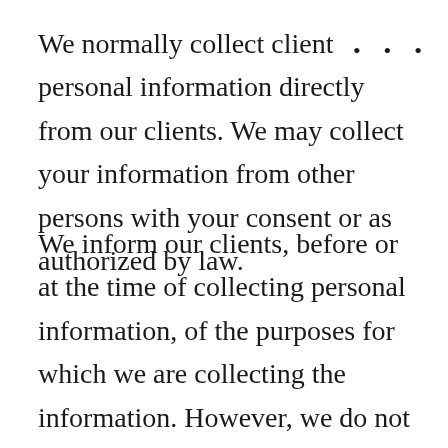We normally collect client personal information directly from our clients. We may collect your information from other persons with your consent or as authorized by law.
We inform our clients, before or at the time of collecting personal information, of the purposes for which we are collecting the information. However, we do not provide this notification when a client volunteers information for an obvious purpose (for example, producing a credit card for an in-